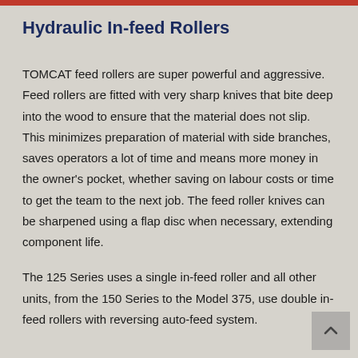Hydraulic In-feed Rollers
TOMCAT feed rollers are super powerful and aggressive. Feed rollers are fitted with very sharp knives that bite deep into the wood to ensure that the material does not slip. This minimizes preparation of material with side branches, saves operators a lot of time and means more money in the owner's pocket, whether saving on labour costs or time to get the team to the next job. The feed roller knives can be sharpened using a flap disc when necessary, extending component life.
The 125 Series uses a single in-feed roller and all other units, from the 150 Series to the Model 375, use double in-feed rollers with reversing auto-feed system.